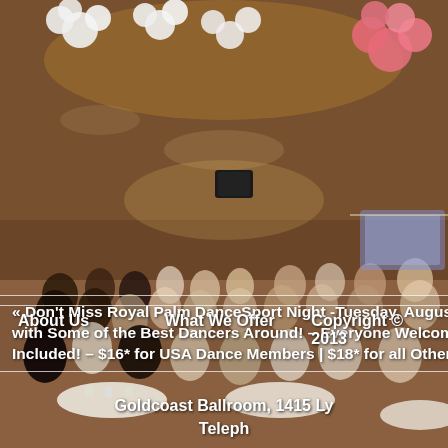[Figure (photo): Interior of Goldcoast Ballroom filled with people dancing and seated at round tables, decorated with white and pink balloons, chandelier lighting, and festive atmosphere.]
« Don't Miss Royal Palm DanceSport Night -Tuesday, August 14 – 8:00 PM – 11:00 PM – A Fun Night of Dancing with Some of the Best Dancers Around! – Everyone Welcome! – COMPLIMENTARY CLASS with Liene DiLorenzo Included! – $16* for USA Dance Members | $18* for all Others
About Us    What We Offer    Copyright © 2013
Goldcoast Ballroom, 1415 Ly
Teleph